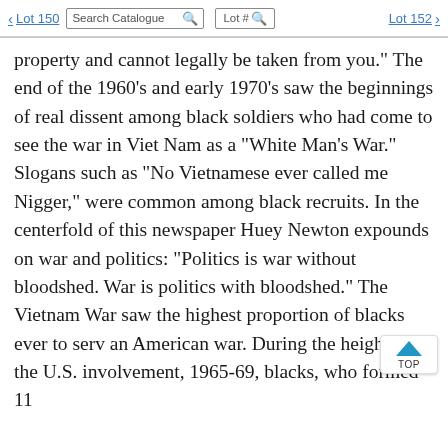< Lot 150   Search Catalogue 🔍   Lot # 🔍   Lot 152 >
property and cannot legally be taken from you." The end of the 1960's and early 1970's saw the beginnings of real dissent among black soldiers who had come to see the war in Viet Nam as a "White Man's War." Slogans such as "No Vietnamese ever called me Nigger," were common among black recruits. In the centerfold of this newspaper Huey Newton expounds on war and politics: "Politics is war without bloodshed. War is politics with bloodshed." The Vietnam War saw the highest proportion of blacks ever to serv an American war. During the height of the U.S. involvement, 1965-69, blacks, who formed 11